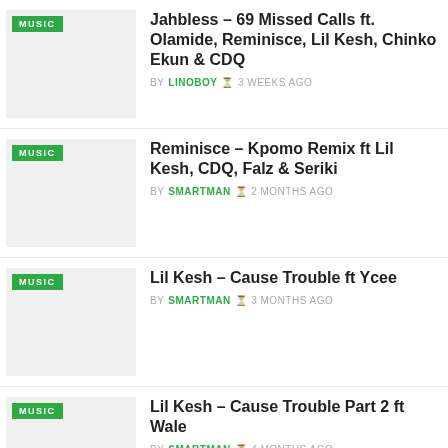Jahbless – 69 Missed Calls ft. Olamide, Reminisce, Lil Kesh, Chinko Ekun & CDQ
Reminisce – Kpomo Remix ft Lil Kesh, CDQ, Falz & Seriki
Lil Kesh – Cause Trouble ft Ycee
Lil Kesh – Cause Trouble Part 2 ft Wale